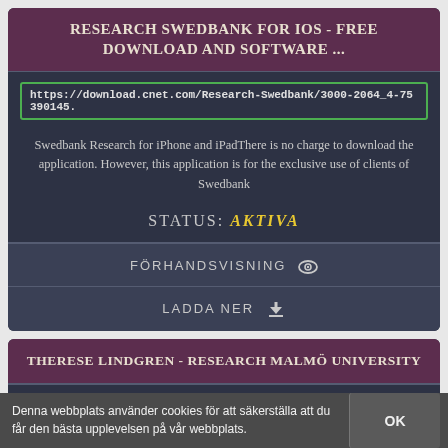RESEARCH SWEDBANK FOR IOS - FREE DOWNLOAD AND SOFTWARE ...
https://download.cnet.com/Research-Swedbank/3000-2064_4-75390145.
Swedbank Research for iPhone and iPadThere is no charge to download the application. However, this application is for the exclusive use of clients of Swedbank
STATUS: AKTIVA
FÖRHANDSVISNING 👁
LADDA NER ⬇
THERESE LINDGREN - RESEARCH MALMÖ UNIVERSITY
Denna webbplats använder cookies för att säkerställa att du får den bästa upplevelsen på vår webbplats.
OK